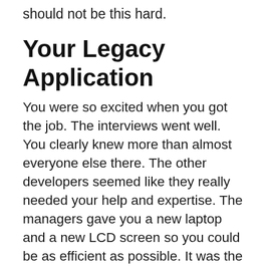should not be this hard.
Your Legacy Application
You were so excited when you got the job. The interviews went well. You clearly knew more than almost everyone else there. The other developers seemed like they really needed your help and expertise. The managers gave you a new laptop and a new LCD screen so you could be as efficient as possible. It was the perfect setup. You were eager to get to work showing off your skills and abilities to make the application sing, and get the project back on schedule.
But then you checked out the code base. It was a mess. It had been architected over several years by multiple different lead